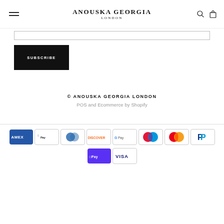ANOUSKA GEORGIA LONDON
[Figure (screenshot): Email subscribe input field]
[Figure (screenshot): SUBSCRIBE button — black rectangle with white uppercase text]
© ANOUSKA GEORGIA LONDON
POS and Ecommerce by Shopify
[Figure (infographic): Payment method icons: American Express, Apple Pay, Diners Club, Discover, Google Pay, Maestro, Mastercard, PayPal, Shop Pay, Visa]